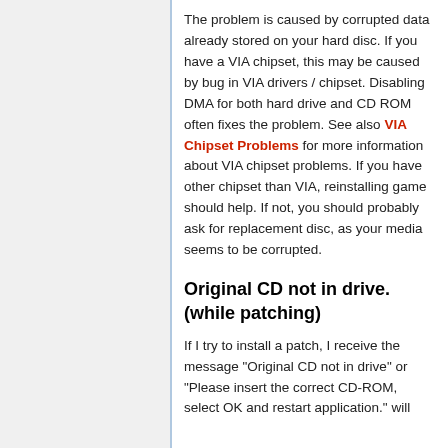The problem is caused by corrupted data already stored on your hard disc. If you have a VIA chipset, this may be caused by bug in VIA drivers / chipset. Disabling DMA for both hard drive and CD ROM often fixes the problem. See also VIA Chipset Problems for more information about VIA chipset problems. If you have other chipset than VIA, reinstalling game should help. If not, you should probably ask for replacement disc, as your media seems to be corrupted.
Original CD not in drive.(while patching)
If I try to install a patch, I receive the message "Original CD not in drive" or "Please insert the correct CD-ROM, select OK and restart application." will